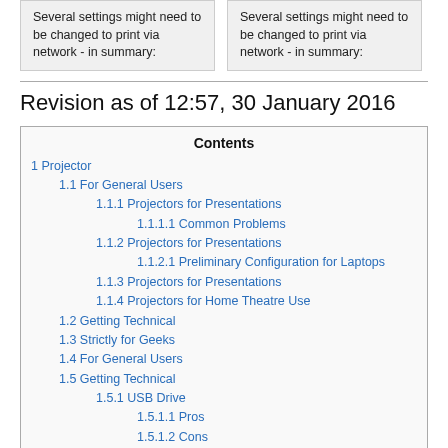Several settings might need to be changed to print via network - in summary:
Several settings might need to be changed to print via network - in summary:
Revision as of 12:57, 30 January 2016
| Contents |
| --- |
| 1  Projector |
| 1.1  For General Users |
| 1.1.1  Projectors for Presentations |
| 1.1.1.1  Common Problems |
| 1.1.2  Projectors for Presentations |
| 1.1.2.1  Preliminary Configuration for Laptops |
| 1.1.3  Projectors for Presentations |
| 1.1.4  Projectors for Home Theatre Use |
| 1.2  Getting Technical |
| 1.3  Strictly for Geeks |
| 1.4  For General Users |
| 1.5  Getting Technical |
| 1.5.1  USB Drive |
| 1.5.1.1  Pros |
| 1.5.1.2  Cons |
| 1.5.2  Internal HDD |
| 1.5.3  Installation |
| 1.5.4  Selecting Boot Device |
| 1.6  Strictly for Geeks |
| 1.7  Bootloaders |